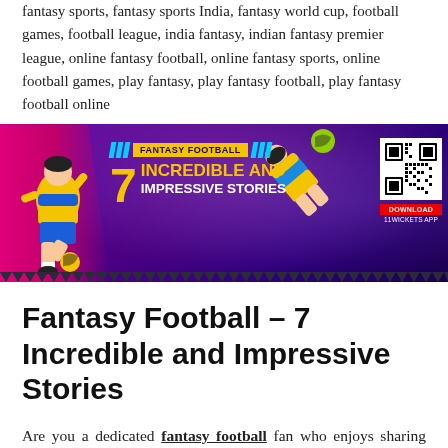fantasy sports, fantasy sports India, fantasy world cup, football games, football league, india fantasy, indian fantasy premier league, online fantasy football, online fantasy sports, online football games, play fantasy, play fantasy football, play fantasy football online
[Figure (illustration): Promotional banner for Fantasy Football – 7 Incredible and Impressive Stories on 11Wickets App. Purple/magenta background with soccer player illustrations, yellow text, QR code, and download button.]
Fantasy Football – 7 Incredible and Impressive Stories
Are you a dedicated fantasy football fan who enjoys sharing interesting football stories? Millions regard football as the beautiful game. It is filled with so